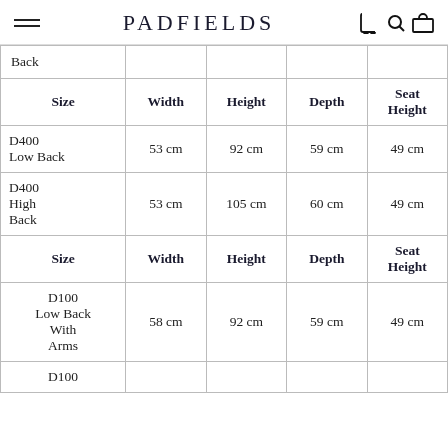PADFIELDS
| Size | Width | Height | Depth | Seat Height |
| --- | --- | --- | --- | --- |
| Back |  |  |  |  |
| Size | Width | Height | Depth | Seat Height |
| D400 Low Back | 53 cm | 92 cm | 59 cm | 49 cm |
| D400 High Back | 53 cm | 105 cm | 60 cm | 49 cm |
| Size | Width | Height | Depth | Seat Height |
| D100 Low Back With Arms | 58 cm | 92 cm | 59 cm | 49 cm |
| D100 |  |  |  |  |